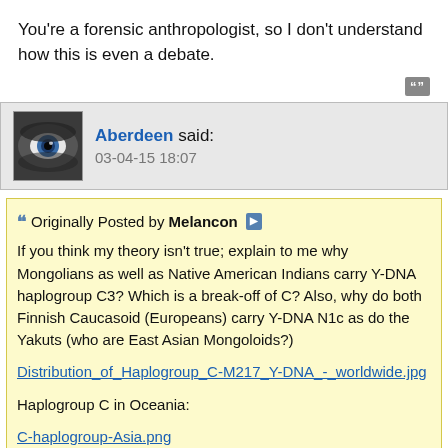You're a forensic anthropologist, so I don't understand how this is even a debate.
Aberdeen said: 03-04-15 18:07
Originally Posted by Melancon
If you think my theory isn't true; explain to me why Mongolians as well as Native American Indians carry Y-DNA haplogroup C3? Which is a break-off of C? Also, why do both Finnish Caucasoid (Europeans) carry Y-DNA N1c as do the Yakuts (who are East Asian Mongoloids?)
Distribution_of_Haplogroup_C-M217_Y-DNA_-_worldwide.jpg
Haplogroup C in Oceania:
C-haplogroup-Asia.png
Most Australian aboriginals are Y-DNA C4.